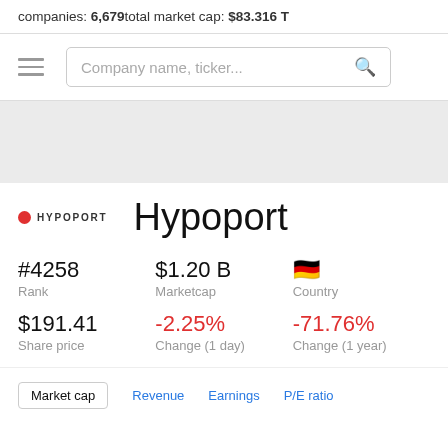companies: 6,679   total market cap: $83.316 T
Company name, ticker...
[Figure (logo): Hypoport company logo with red circle and HYPOPORT text]
Hypoport
| Rank | Marketcap | Country |
| --- | --- | --- |
| #4258 | $1.20 B | 🇩🇪 |
| Rank | Marketcap | Country |
| $191.41 | -2.25% | -71.76% |
| Share price | Change (1 day) | Change (1 year) |
Market cap   Revenue   Earnings   P/E ratio